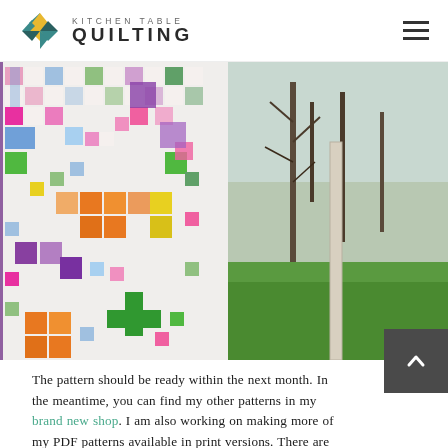Kitchen Table Quilting
[Figure (photo): A colorful patchwork quilt with a nine-patch style design in pinks, greens, blues, oranges, yellows, and purples hung outdoors in a garden setting with trees and green grass in the background.]
The pattern should be ready within the next month. In the meantime, you can find my other patterns in my brand new shop. I am also working on making more of my PDF patterns available in print versions. There are